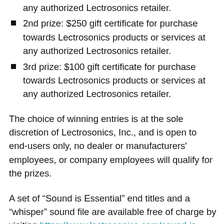2nd prize: $250 gift certificate for purchase towards Lectrosonics products or services at any authorized Lectrosonics retailer.
3rd prize: $100 gift certificate for purchase towards Lectrosonics products or services at any authorized Lectrosonics retailer.
The choice of winning entries is at the sole discretion of Lectrosonics, Inc., and is open to end-users only, no dealer or manufacturers' employees, or company employees will qualify for the prizes.
A set of “Sound is Essential” end titles and a “whisper” sound file are available free of charge by visiting https://www.lectrosonics.com/sound-is-essential.html.  All are invited to let creative juices flow and be an entry to all categories in the “Sound is Essential” contest.